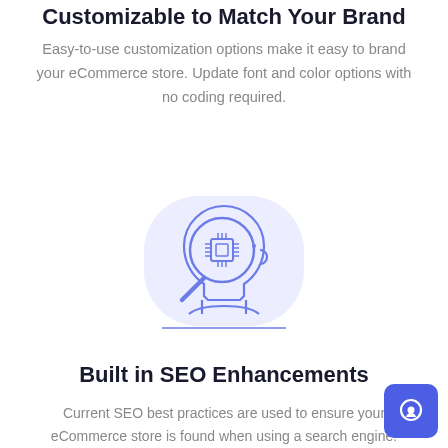Customizable to Match Your Brand
Easy-to-use customization options make it easy to brand your eCommerce store. Update font and color options with no coding required.
[Figure (illustration): Illustration of a human head silhouette with a magnifying glass showing a circuit chip inside, on a light purple rounded background, drawn in purple outline style.]
Built in SEO Enhancements
Current SEO best practices are used to ensure your eCommerce store is found when using a search engine.